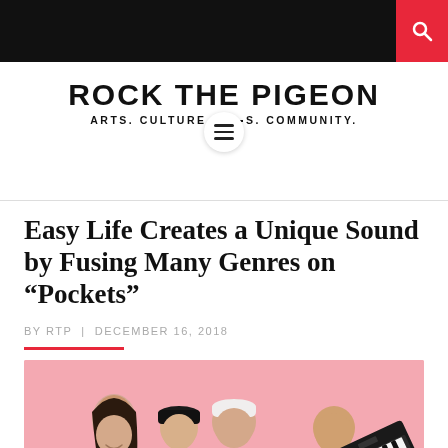Rock The Pigeon — Arts. Culture. Music. Community.
ROCK THE PIGEON
ARTS. CULTURE — S. COMMUNITY.
Easy Life Creates a Unique Sound by Fusing Many Genres on “Pockets”
BY RTP | DECEMBER 16, 2018
[Figure (photo): Five members of the band Easy Life posing together against a pink background, one holding a keyboard/synthesizer instrument.]